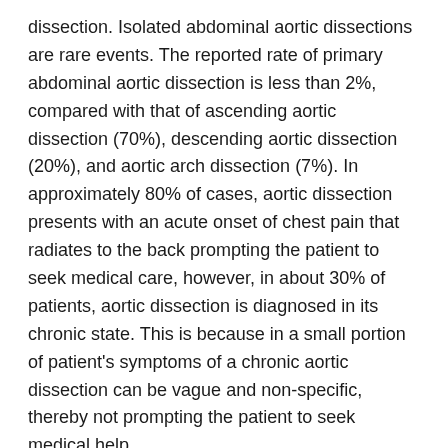dissection. Isolated abdominal aortic dissections are rare events. The reported rate of primary abdominal aortic dissection is less than 2%, compared with that of ascending aortic dissection (70%), descending aortic dissection (20%), and aortic arch dissection (7%). In approximately 80% of cases, aortic dissection presents with an acute onset of chest pain that radiates to the back prompting the patient to seek medical care, however, in about 30% of patients, aortic dissection is diagnosed in its chronic state. This is because in a small portion of patient's symptoms of a chronic aortic dissection can be vague and non-specific, thereby not prompting the patient to seek medical help.
Sonographically, an aortic dissection can be diagnosed by identifying an echogenic intimal flap